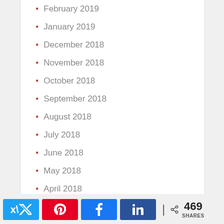February 2019
January 2019
December 2018
November 2018
October 2018
September 2018
August 2018
July 2018
June 2018
May 2018
April 2018
469 SHARES